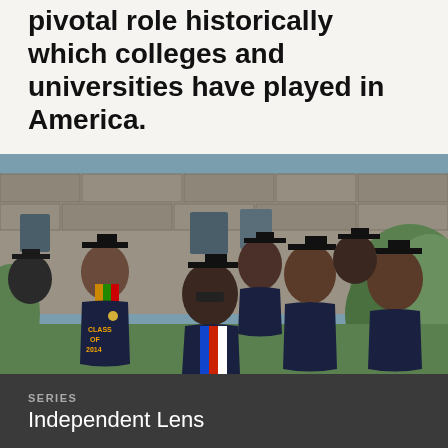pivotal role historically which colleges and universities have played in America.
[Figure (photo): Group of African American college graduates in black caps and gowns, some wearing colorful kente cloth stoles, smiling and posing together outside a stone building. One graduate's gown reads 'CLASS OF 2014'.]
SERIES
Independent Lens
PREMIERE DATE
February 15, 2016